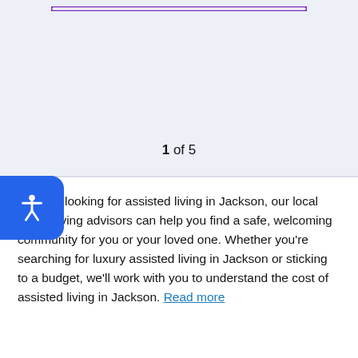[Figure (other): Purple bordered bar at top, partially visible, indicating a UI carousel or navigation element]
1 of 5
If you're looking for assisted living in Jackson, our local senior living advisors can help you find a safe, welcoming community for you or your loved one. Whether you're searching for luxury assisted living in Jackson or sticking to a budget, we'll work with you to understand the cost of assisted living in Jackson. Read more